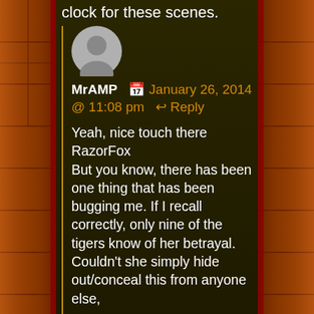clock for these scenes.
MrAMP  📅 January 26, 2014 @ 11:08 pm  ↩ Reply
Yeah, nice touch there RazorFox
But you know, there has been one thing that has been bugging me. If I recall correctly, only nine of the tigers know of her betrayal. Couldn't she simply hide out/conceal this from anyone else,